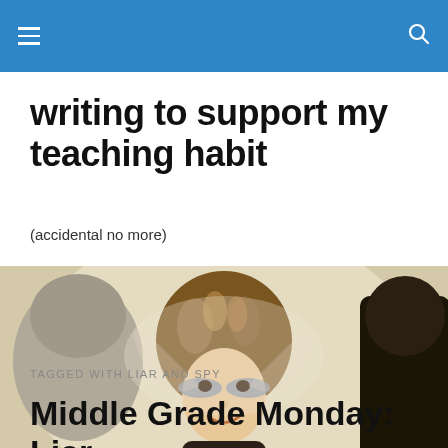≡  🔍
writing to support my teaching habit
(accidental no more)
[Figure (photo): Photo of a young girl with curly hair and fairy face paint, surrounded by other people, in a festive or costume setting]
TAGGED WITH LIAR AND SPY
Middle Grade Monday: Liar and Spy